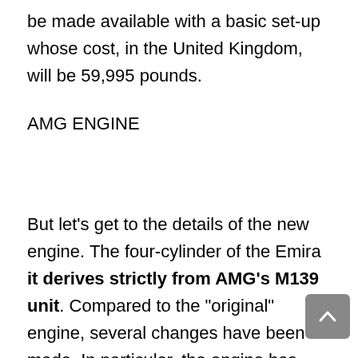be made available with a basic set-up whose cost, in the United Kingdom, will be 59,995 pounds.
AMG ENGINE
But let’s get to the details of the new engine. The four-cylinder of the Emira it derives strictly from AMG’s M139 unit. Compared to the “original” engine, several changes have been made. In particular, the engine has been adapted to be mounted on the car in a central position. In addition, the management software has been revised to meet the needs of the British car manufacturer.